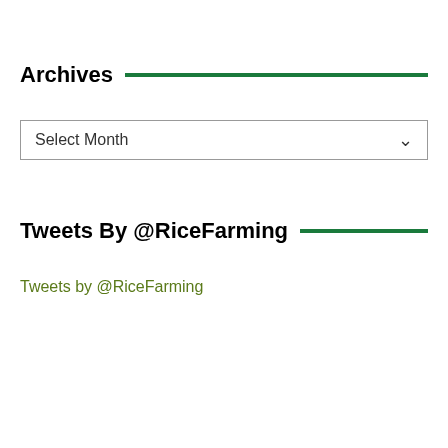Archives
Select Month
Tweets By @RiceFarming
Tweets by @RiceFarming